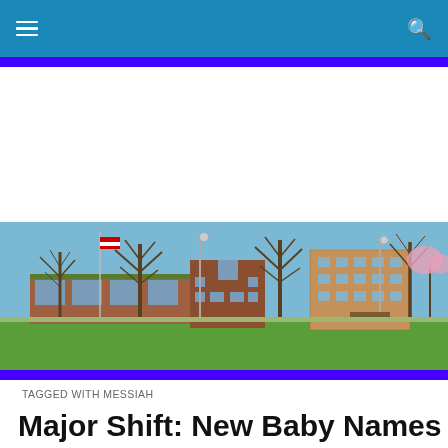Navigation bar with hamburger menu and search icon
[Figure (photo): Outdoor photo of a town square or park with bare winter trees, green lawn, brick commercial buildings, and light poles in the background under a blue sky.]
TAGGED WITH MESSIAH
Major Shift: New Baby Names Suggest High Hopes